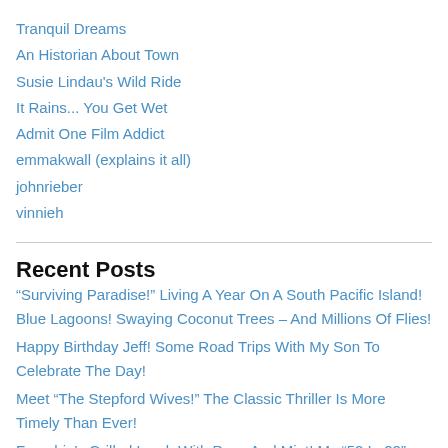Tranquil Dreams
An Historian About Town
Susie Lindau's Wild Ride
It Rains... You Get Wet
Admit One Film Addict
emmakwall (explains it all)
johnrieber
vinnieh
Recent Posts
“Surviving Paradise!” Living A Year On A South Pacific Island! Blue Lagoons! Swaying Coconut Trees – And Millions Of Flies!
Happy Birthday Jeff! Some Road Trips With My Son To Celebrate The Day!
Meet “The Stepford Wives!” The Classic Thriller Is More Timely Than Ever!
Frenchie’s Grilled Lamb With Peas And Mint! My “52 In 22” Cooking Challenge Has The French Recipe!